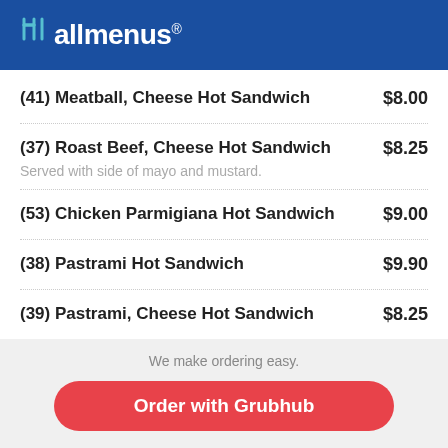allmenus
(41) Meatball, Cheese Hot Sandwich  $8.00
(37) Roast Beef, Cheese Hot Sandwich  $8.25
Served with side of mayo and mustard.
(53) Chicken Parmigiana Hot Sandwich  $9.00
(38) Pastrami Hot Sandwich  $9.90
(39) Pastrami, Cheese Hot Sandwich  $8.25
We make ordering easy.
Order with Grubhub